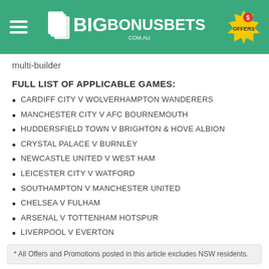BigBonusBets.com.au
multi-builder
FULL LIST OF APPLICABLE GAMES:
CARDIFF CITY V WOLVERHAMPTON WANDERERS
MANCHESTER CITY V AFC BOURNEMOUTH
HUDDERSFIELD TOWN V BRIGHTON & HOVE ALBION
CRYSTAL PALACE V BURNLEY
NEWCASTLE UNITED V WEST HAM
LEICESTER CITY V WATFORD
SOUTHAMPTON V MANCHESTER UNITED
CHELSEA V FULHAM
ARSENAL V TOTTENHAM HOTSPUR
LIVERPOOL V EVERTON
* All Offers and Promotions posted in this article excludes NSW residents.